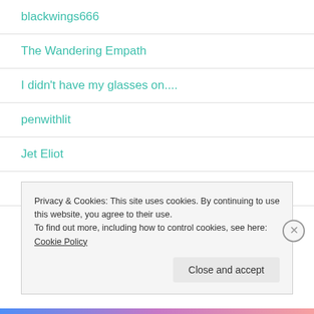blackwings666
The Wandering Empath
I didn't have my glasses on....
penwithlit
Jet Eliot
Judith Barrow
Privacy & Cookies: This site uses cookies. By continuing to use this website, you agree to their use.
To find out more, including how to control cookies, see here: Cookie Policy
Close and accept